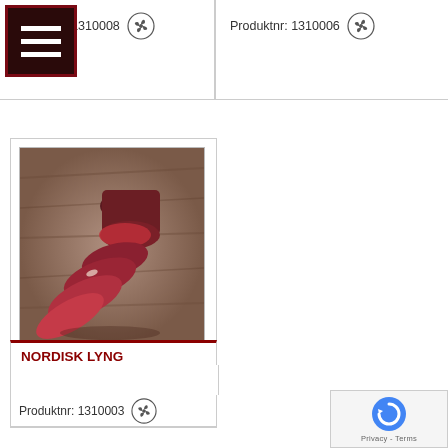Produktnr: 1310008
Produktnr: 1310006
[Figure (photo): Photo of raw meat pieces on a wooden surface — a Nordic venison or game meat product]
NORDISK LYNG
Produktnr: 1310003